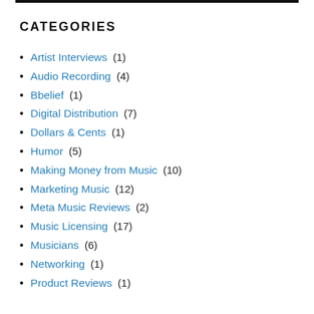CATEGORIES
Artist Interviews (1)
Audio Recording (4)
Bbelief (1)
Digital Distribution (7)
Dollars & Cents (1)
Humor (5)
Making Money from Music (10)
Marketing Music (12)
Meta Music Reviews (2)
Music Licensing (17)
Musicians (6)
Networking (1)
Product Reviews (1)